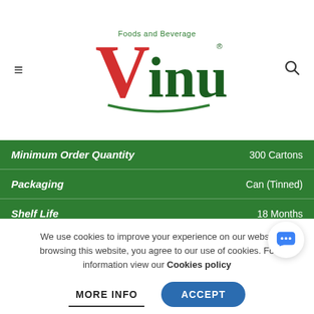[Figure (logo): Vinut Foods and Beverage logo with red V and green text]
| Field | Value |
| --- | --- |
| Minimum Order Quantity | 300 Cartons |
| Packaging | Can (Tinned) |
| Shelf Life | 18 Months |
| Payment method | L/C, MoneyGram, Paypal, T/T, Western Union |
| Primary Ingredient | Raspberry |
| Supply ability | 600 Twenty-Foot Containers per month |
| Volume | 320ml |
We use cookies to improve your experience on our website. By browsing this website, you agree to our use of cookies. For more information view our Cookies policy
MORE INFO | ACCEPT